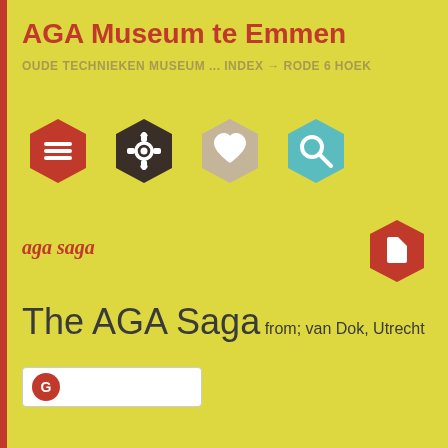AGA Museum te Emmen
OUDE TECHNIEKEN MUSEUM ... INDEX → RODE 6 HOEK
[Figure (infographic): Four hexagon icons in a row: red with menu lines, dark brown with gear, tan/beige with heart, teal/cyan with magnifying glass]
aga saga
[Figure (infographic): Red hexagon icon with a document/page symbol, positioned to the right]
The AGA Saga
from; van Dok, Utrecht
[Figure (logo): Partial logo at the bottom, white background with red element visible]